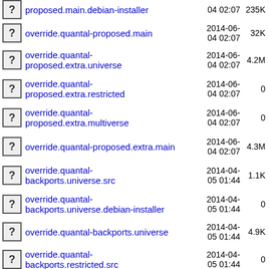proposed.main.debian-installer  2014-06-04 02:07  235K
override.quantal-proposed.main  2014-06-04 02:07  32K
override.quantal-proposed.extra.universe  2014-06-04 02:07  4.2M
override.quantal-proposed.extra.restricted  2014-06-04 02:07  0
override.quantal-proposed.extra.multiverse  2014-06-04 02:07  0
override.quantal-proposed.extra.main  2014-06-04 02:07  4.3M
override.quantal-backports.universe.src  2014-04-05 01:44  1.1K
override.quantal-backports.universe.debian-installer  2014-04-05 01:44  0
override.quantal-backports.universe  2014-04-05 01:44  4.9K
override.quantal-backports.restricted.src  2014-04-05 01:44  0
override.quantal-backports.restricted.debian-installer  2014-04-05 01:44  0
override.quantal-backports.restricted  2014-04-05 01:44  0